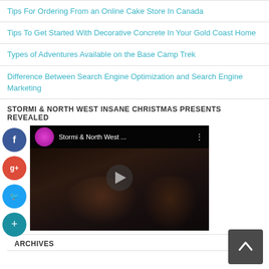Tips For Ordering From an Online Cake Store In Canada
Tips To Get Started With Decorative Concrete In Your Gold Coast Home
Types of Adventures Available on the Base Camp Trek
Difference Between Search Engine Optimization and Search Engine Marketing
STORMI & NORTH WEST INSANE CHRISTMAS PRESENTS REVEALED
[Figure (screenshot): YouTube video thumbnail showing Stormi & North West video with dark overlay and play button, with social share buttons (Facebook, Google+, Twitter, Plus) on the left side]
ARCHIVES